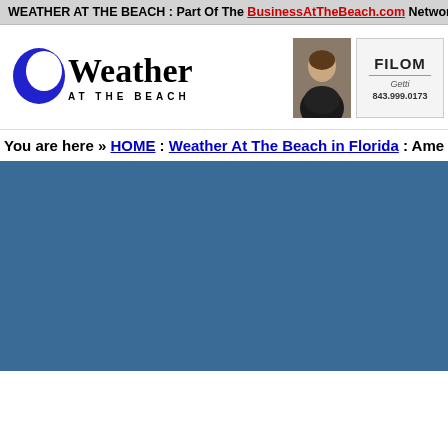WEATHER AT THE BEACH : Part Of The BusinessAtTheBeach.com Network
[Figure (logo): Weather At The Beach logo with blue crescent moon icon and bold text reading 'Weather AT THE BEACH']
[Figure (photo): Headshot photo of a woman in a black jacket]
[Figure (other): FILOMENA real estate advertisement with phone number 843.999.0173]
You are here » HOME : Weather At The Beach in Florida : Ame